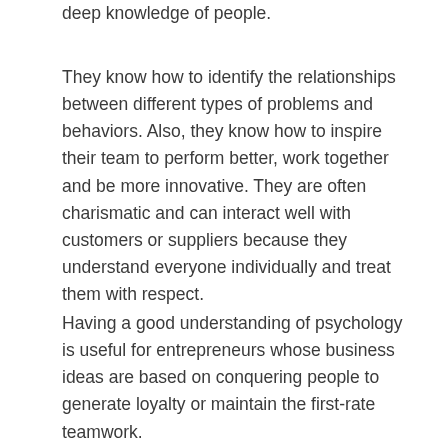deep knowledge of people.
They know how to identify the relationships between different types of problems and behaviors. Also, they know how to inspire their team to perform better, work together and be more innovative. They are often charismatic and can interact well with customers or suppliers because they understand everyone individually and treat them with respect.
Having a good understanding of psychology is useful for entrepreneurs whose business ideas are based on conquering people to generate loyalty or maintain the first-rate teamwork.